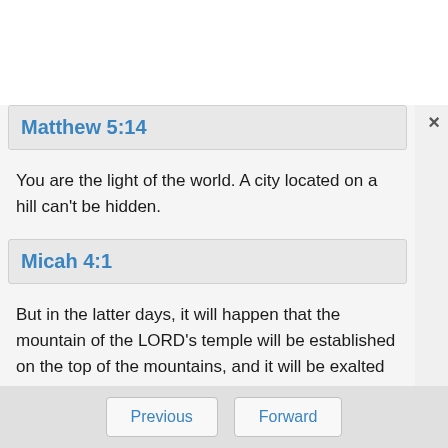Matthew 5:14
You are the light of the world. A city located on a hill can't be hidden.
Micah 4:1
But in the latter days, it will happen that the mountain of the LORD's temple will be established on the top of the mountains, and it will be exalted above the hills; and peoples will stream to it.
Previous   Forward